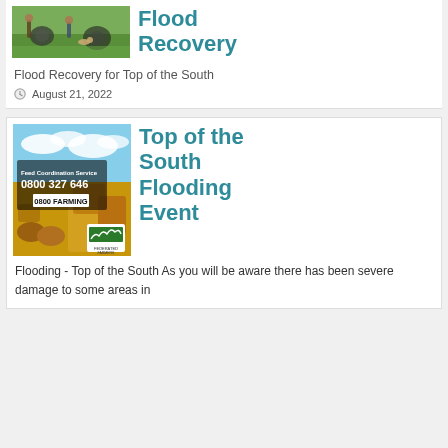[Figure (photo): Photo of people standing in a green field with farm vehicles/tyres, a dog visible]
Flood Recovery
Flood Recovery for Top of the South
August 21, 2022
[Figure (photo): Federated Farmers advertisement showing hay bales in a field with text: Feed Coordination Service, 0800 327 646, 0800 FARMING, with Federated Farmers logo]
Top of the South Flooding Event
Flooding - Top of the South As you will be aware there has been severe damage to some areas in